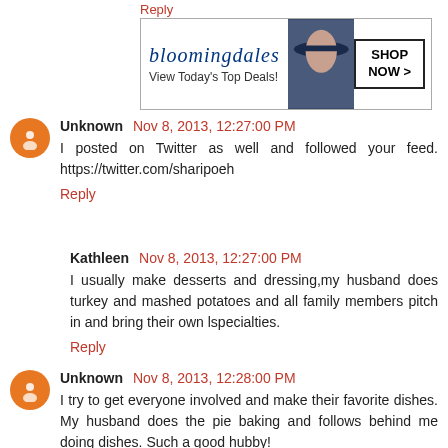Reply
[Figure (other): Bloomingdales advertisement banner: logo text 'bloomingdales', tagline 'View Today's Top Deals!', image of woman in hat, 'SHOP NOW >' button]
Unknown  Nov 8, 2013, 12:27:00 PM
I posted on Twitter as well and followed your feed. https://twitter.com/sharipoeh
Reply
Kathleen  Nov 8, 2013, 12:27:00 PM
I usually make desserts and dressing,my husband does turkey and mashed potatoes and all family members pitch in and bring their own lspecialties.
Reply
Unknown  Nov 8, 2013, 12:28:00 PM
I try to get everyone involved and make their favorite dishes. My husband does the pie baking and follows behind me doing dishes. Such a good hubby!